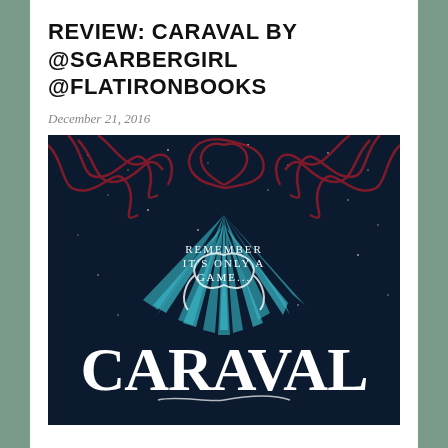REVIEW: CARAVAL BY @SGARBERGIRL @FLATIRONBOOKS
December 21, 2016
[Figure (photo): Book cover of Caraval by Stephanie Garber. Dark navy blue background with red ornate swirling designs at the top and a large teal/blue starburst compass design in the center. White serif text reads 'CARAVAL' at the bottom and 'REMEMBER IT'S ONLY A GAME...' in smaller text above center.]